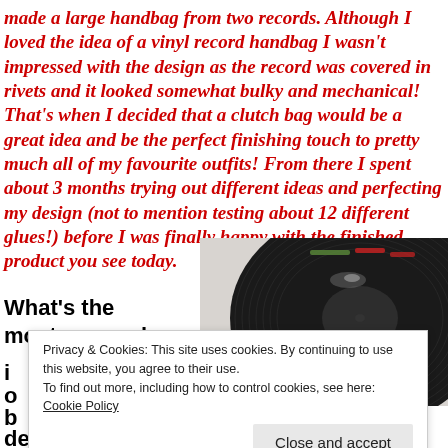made a large handbag from two records. Although I loved the idea of a vinyl record handbag I wasn't impressed with the design as the record was covered in rivets and it looked somewhat bulky and mechanical! That's when I decided that a clutch bag would be a great idea and be the perfect finishing touch to pretty much all of my favourite outfits! From there I spent about 3 months trying out different ideas and perfecting my design (not to mention testing about 12 different glues!) before I was finally happy with the finished product you see today.
What's the most unusual
[Figure (photo): Close-up photograph of a black vinyl record showing grooves and label edge]
Privacy & Cookies: This site uses cookies. By continuing to use this website, you agree to their use. To find out more, including how to control cookies, see here: Cookie Policy
Close and accept